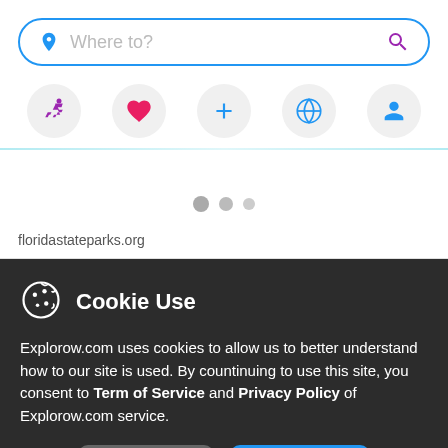[Figure (screenshot): Search bar with 'Where to?' placeholder text, blue border, blue pin icon on left, purple search icon on right]
[Figure (infographic): Row of five circular icon buttons: purple running person, pink heart, blue plus sign, blue globe, blue person/profile icon]
[Figure (screenshot): White content area with three loading dots and 'floridastateparks.org' URL at bottom]
Cookie Use
Explorow.com uses cookies to allow us to better understand how to our site is used. By countinuing to use this site, you consent to Term of Service and Privacy Policy of Explorow.com service.